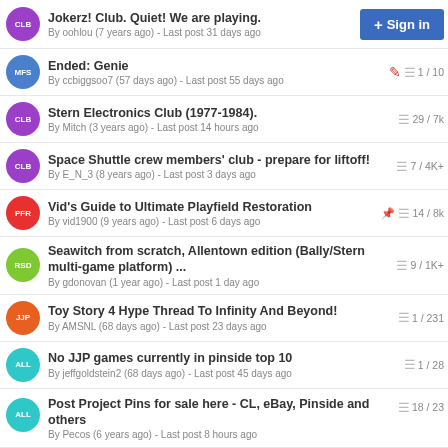Jokerz! Club. Quiet! We are playing. By oohlou (7 years ago) - Last post 31 days ago
Ended: Genie By ccbiggsoo7 (57 days ago) - Last post 55 days ago | 1 / 10
Stern Electronics Club (1977-1984). By Mitch (3 years ago) - Last post 14 hours ago | 29 / 7K
Space Shuttle crew members' club - prepare for liftoff! By E_N_3 (8 years ago) - Last post 3 days ago | 7 / 4K+
Vid's Guide to Ultimate Playfield Restoration By vid1900 (9 years ago) - Last post 6 days ago | 14 / 8K
Seawitch from scratch, Allentown edition (Bally/Stern multi-game platform) ... By gdonovan (1 year ago) - Last post 1 day ago | 9 / 1K+
Toy Story 4 Hype Thread To Infinity And Beyond! By AMSNL (68 days ago) - Last post 23 days ago | 1 / 231
No JJP games currently in pinside top 10 By jeffgoldstein2 (68 days ago) - Last post 45 days ago | 1 / 28
Post Project Pins for sale here - CL, eBay, Pinside and others By Pecos (6 years ago) - Last post 8 hours ago | 18 / 23
Official Seawitch Fan Club ... All Welcome By DirtySouth (8 years ago) - Last post 1 day ago | 1 / 1K+